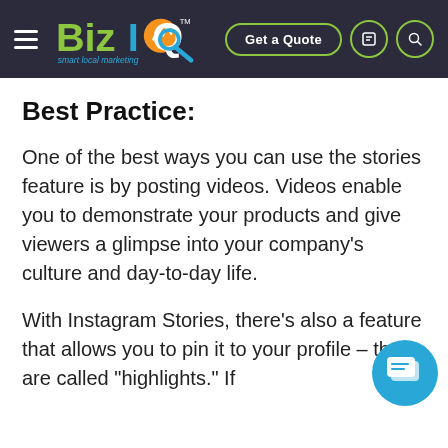BizIQ smart local marketing — Get a Quote
Best Practice:
One of the best ways you can use the stories feature is by posting videos. Videos enable you to demonstrate your products and give viewers a glimpse into your company's culture and day-to-day life.
With Instagram Stories, there's also a feature that allows you to pin it to your profile – these are called "highlights." If